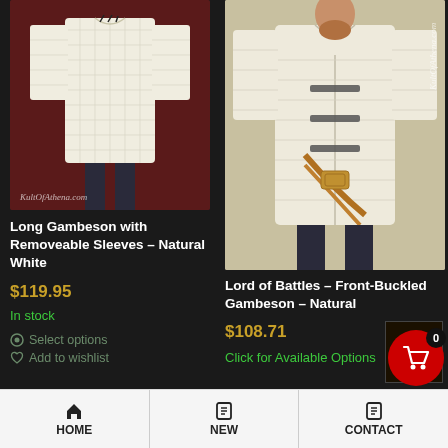[Figure (photo): Product photo of Long Gambeson with Removeable Sleeves in Natural White, showing a quilted white tunic worn by a model, with KultOfAthena.com watermark]
[Figure (photo): Product photo of Lord of Battles Front-Buckled Gambeson in Natural, showing a white gambeson with front buckle closures worn by a bearded man with a belt, with KultOfAthena.com watermark]
Long Gambeson with Removeable Sleeves – Natural White
$119.95
In stock
Select options
Add to wishlist
Lord of Battles – Front-Buckled Gambeson – Natural
$108.71
Click for Available Options
[Figure (photo): Small thumbnail showing a figure/product image at bottom right]
HOME | NEW | CONTACT